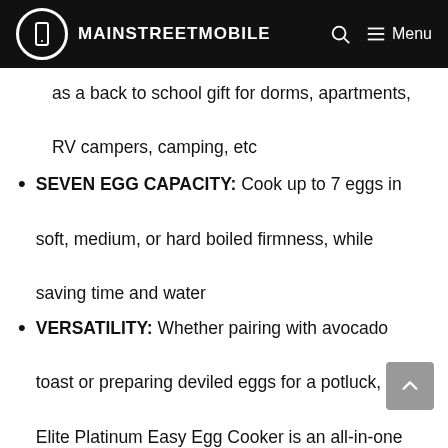MAINSTREETMOBILE
as a back to school gift for dorms, apartments, RV campers, camping, etc
SEVEN EGG CAPACITY: Cook up to 7 eggs in soft, medium, or hard boiled firmness, while saving time and water
VERSATILITY: Whether pairing with avocado toast or preparing deviled eggs for a potluck, the Elite Platinum Easy Egg Cooker is an all-in-one egg boiler, scrambler, omelet/veggie steamer, and more!
EASE OF USE: Fill measuring cup with water to